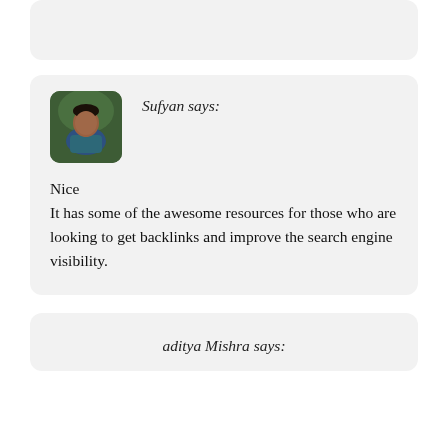[Figure (other): Partial comment card visible at top of page (cropped)]
Sufyan says:
[Figure (photo): Avatar photo of Sufyan – a young man in a dark teal shirt against a green background]
Nice
It has some of the awesome resources for those who are looking to get backlinks and improve the search engine visibility.
aditya Mishra says: